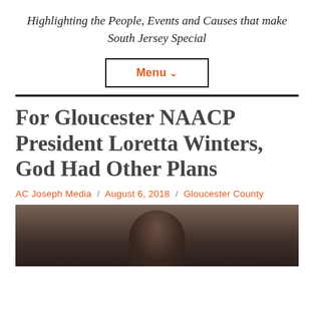Highlighting the People, Events and Causes that make South Jersey Special
Menu ∨
For Gloucester NAACP President Loretta Winters, God Had Other Plans
AC Joseph Media / August 6, 2018 / Gloucester County
[Figure (photo): Photo of a person with dark hair, shown from behind/top, against a dark background]